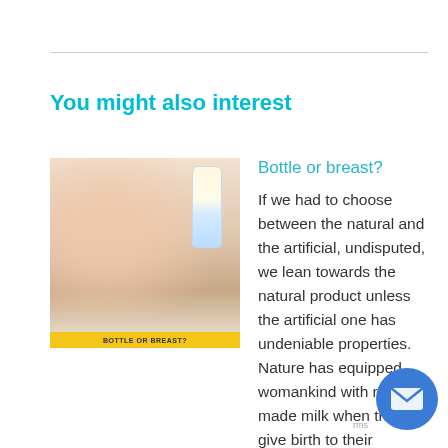You might also interest
[Figure (photo): Thumbnail image of a baby bottle and hands with yellow label reading 'BOTTLE OR BREAST?']
Bottle or breast?
If we had to choose between the natural and the artificial, undisputed, we lean towards the natural product unless the artificial one has undeniable properties. Nature has equipped womankind with ready made milk when they give birth to their Probably, this was nothing bu only option early humans. Since